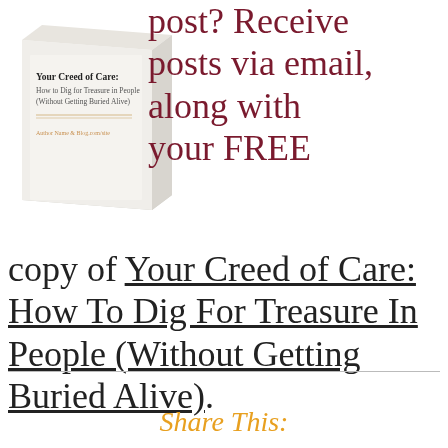[Figure (illustration): Book cover showing 'Your Creed of Care: How to Dig for Treasure in People (Without Getting Buried Alive)' displayed as a 3D book]
post? Receive posts via email, along with your FREE copy of Your Creed of Care: How To Dig For Treasure In People (Without Getting Buried Alive).
Share This: